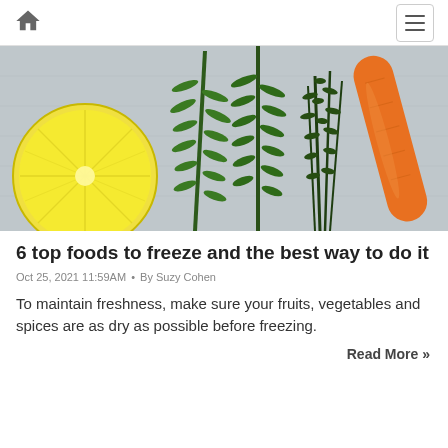Home | Menu
[Figure (photo): A flat-lay photo on a grey textured surface showing a halved lemon on the left, two sprigs of fresh rosemary in the center-left, a bunch of thyme in the center-right, and a whole carrot on the right.]
6 top foods to freeze and the best way to do it
Oct 25, 2021 11:59AM • By Suzy Cohen
To maintain freshness, make sure your fruits, vegetables and spices are as dry as possible before freezing.
Read More »